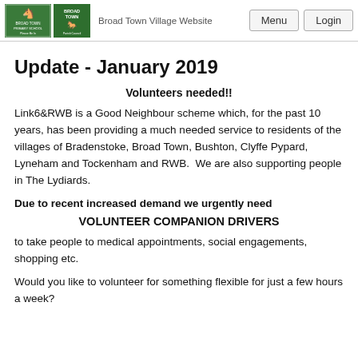Broad Town Village Website | Menu | Login
Update - January 2019
Volunteers needed!!
Link6&RWB is a Good Neighbour scheme which, for the past 10 years, has been providing a much needed service to residents of the villages of Bradenstoke, Broad Town, Bushton, Clyffe Pypard, Lyneham and Tockenham and RWB.  We are also supporting people in The Lydiards.
Due to recent increased demand we urgently need
VOLUNTEER COMPANION DRIVERS
to take people to medical appointments, social engagements, shopping etc.
Would you like to volunteer for something flexible for just a few hours a week?